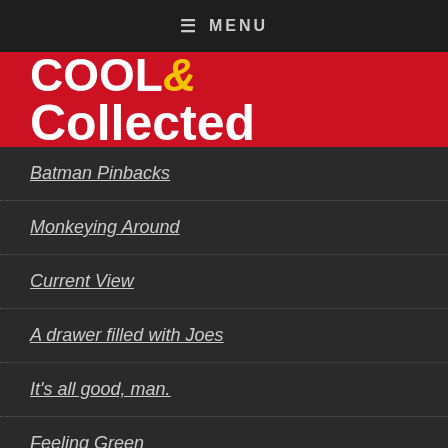≡ MENU
[Figure (logo): Cool & Collected logo — white bold text on red background with yellow ampersand]
Batman Pinbacks
Monkeying Around
Current View
A drawer filled with Joes
It's all good, man.
Feeling Green
Batman & Robin Banks